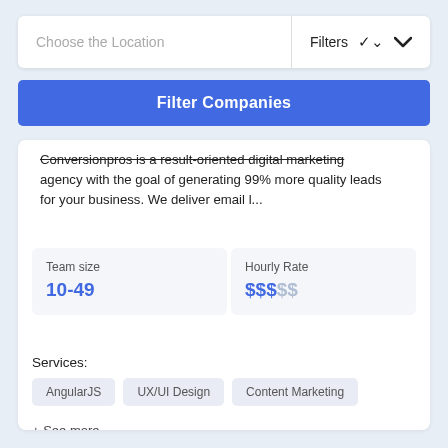Choose the Location
Filters
Filter Companies
Conversionpros is a result-oriented digital marketing agency with the goal of generating 99% more quality leads for your business. We deliver email l...
Team size
10-49
Hourly Rate
$$$$$
Services:
AngularJS
UX/UI Design
Content Marketing
+ See more
View profile
Contact